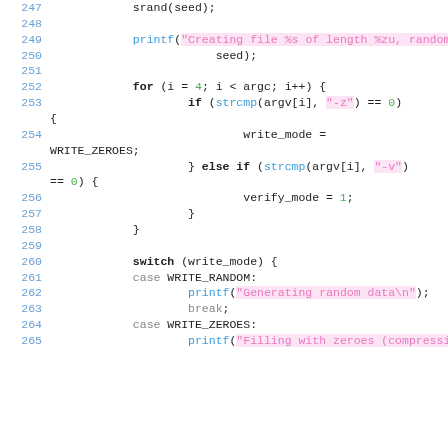[Figure (screenshot): Code snippet in C showing lines 247-265 of a source file. Syntax highlighting with line numbers in blue, string literals in pink with pink background highlight, function names in blue, keywords in gray, and numeric literals in green.]